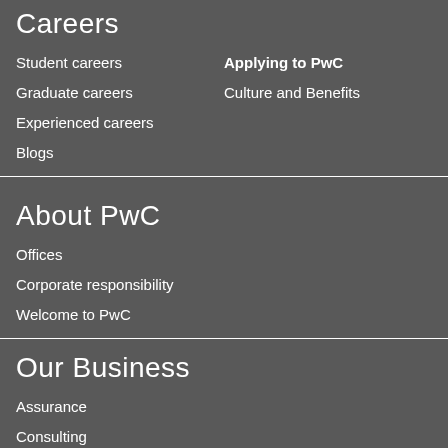Careers
Student careers
Applying to PwC
Graduate careers
Culture and Benefits
Experienced careers
Blogs
About PwC
Offices
Corporate responsibility
Welcome to PwC
Our Business
Assurance
Consulting